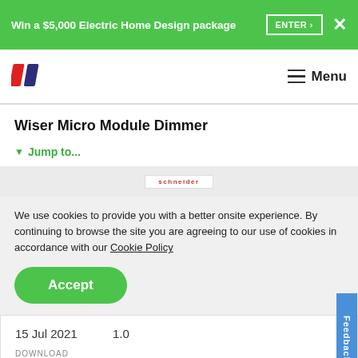Win a $5,000 Electric Home Design package  ENTER >  X
[Figure (logo): HuffPost-style double slash logo in red and purple/navy]
Menu
Wiser Micro Module Dimmer
▼ Jump to...
[Figure (screenshot): Partial product image strip with Schneider Electric brand badge]
We use cookies to provide you with a better onsite experience. By continuing to browse the site you are agreeing to our use of cookies in accordance with our Cookie Policy
Accept
| 15 Jul 2021 | 1.0 |
| DOWNLOAD |  |
| (182.9 KB) |  |